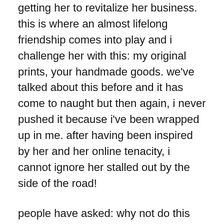getting her to revitalize her business.  this is where an almost lifelong friendship comes into play and i challenge her with this: my original prints, your handmade goods.  we've talked about this before and it has come to naught but then again, i never pushed it because i've been wrapped up in me.  after having been inspired by her and her online tenacity, i cannot ignore her stalled out by the side of the road!
people have asked: why not do this yourself?  i am, with silk screened home goods!  but that doesn't mean she can't take what i do and re-purpose it for her line.  after all, my thing is housewares and why wouldn't i want to share my skills especially since she's already got people who love what she does?  in the end, it's good for me as much as it's good for her because people will see my prints and maybe want more.  get it?